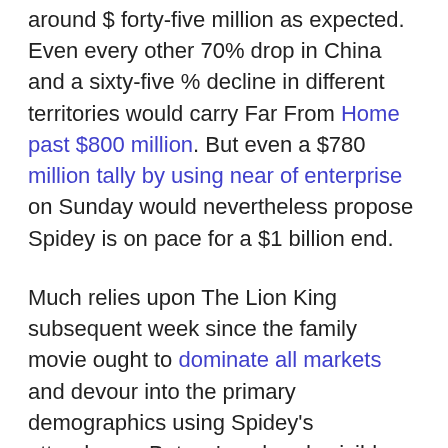around $ forty-five million as expected. Even every other 70% drop in China and a sixty-five % decline in different territories would carry Far From Home past $800 million. But even a $780 million tally by using near of enterprise on Sunday would nevertheless propose Spidey is on pace for a $1 billion end.
Much relies upon The Lion King subsequent week since the family movie ought to dominate all markets and devour into the primary demographics using Spidey's attendance. But we've already visible Aladdin, Toy Story 4, and Spider-Man: Far From Home open within weeks of each different without